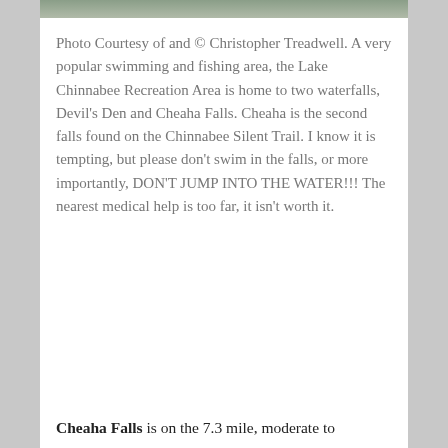[Figure (photo): Top portion of a nature photo, likely showing water or trees at Lake Chinnabee Recreation Area (cropped, only bottom edge visible)]
Photo Courtesy of and © Christopher Treadwell. A very popular swimming and fishing area, the Lake Chinnabee Recreation Area is home to two waterfalls, Devil's Den and Cheaha Falls. Cheaha is the second falls found on the Chinnabee Silent Trail. I know it is tempting, but please don't swim in the falls, or more importantly, DON'T JUMP INTO THE WATER!!! The nearest medical help is too far, it isn't worth it.
Cheaha Falls is on the 7.3 mile, moderate to